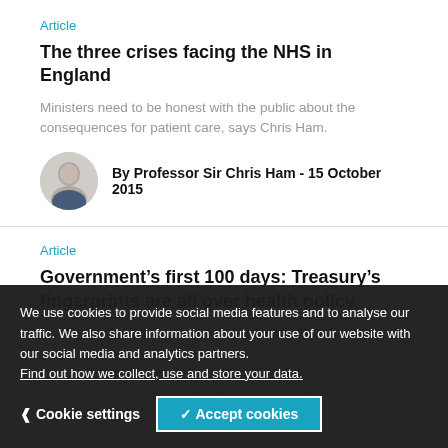Article
The three crises facing the NHS in England
Ministers need to be honest with the public about the consequences for patient care, says Chris Ham.
By Professor Sir Chris Ham - 15 October 2015
Article
Government’s first 100 days: Treasury’s fingerprints are all over health policy
The Treasury’s influence on government health policy is not surprising in view of a combination of austerity, election and spending commitments. The resulting tensions have crystallised into three major themes, each with their own tensions requiring resolution, writes Chris...
We use cookies to provide social media features and to analyse our traffic. We also share information about your use of our website with our social media and analytics partners. Find out how we collect, use and store your data.